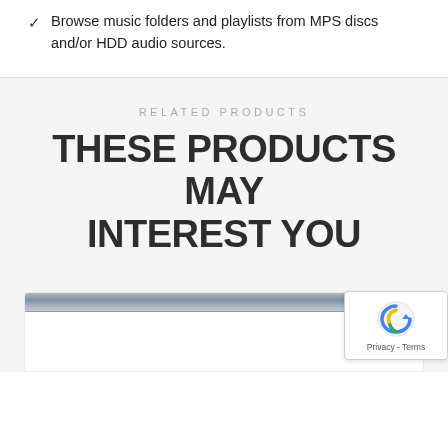Browse music folders and playlists from MPS discs and/or HDD audio sources.
RELATED PRODUCTS
THESE PRODUCTS MAY INTEREST YOU
[Figure (photo): Product card with a dark image strip at top and white body below, partially visible at bottom of page. A reCAPTCHA badge overlays the bottom right corner with the Google reCAPTCHA logo and 'Privacy - Terms' text.]